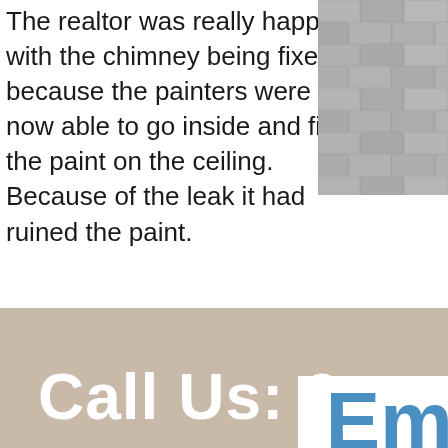The realtor was really happy with the chimney being fixed because the painters were now able to go inside and fix the paint on the ceiling. Because of the leak it had ruined the paint.
[Figure (photo): Close-up photo of grey roof shingles in the top-right corner]
Call Us: 6
Em